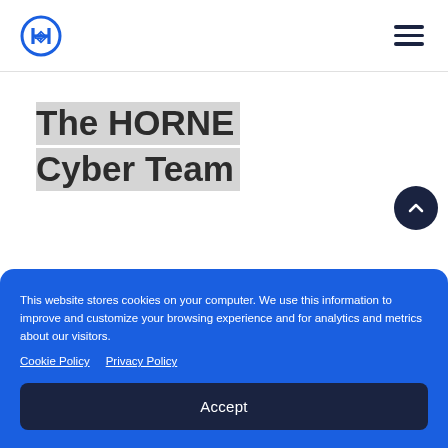HORNE logo and navigation
The HORNE Cyber Team
This website stores cookies on your computer. We use this information to improve and customize your browsing experience and for analytics and metrics about our visitors.
Cookie Policy   Privacy Policy
Accept